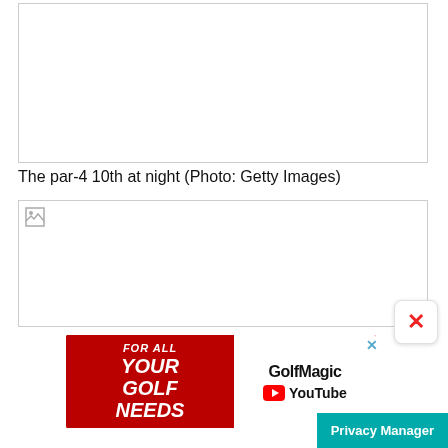[Figure (photo): Top photo placeholder - the par-4 10th at night (image not loaded)]
The par-4 10th at night (Photo: Getty Images)
[Figure (photo): Second photo placeholder - image not loaded, shown with broken image icon]
[Figure (other): GolfMagic YouTube advertisement banner: FOR ALL YOUR GOLF NEEDS text on red background with GolfMagic YouTube branding on white right panel]
Privacy Manager